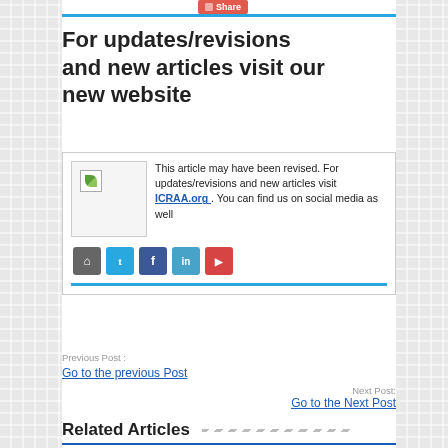For updates/revisions and new articles visit our new website
This article may have been revised. For updates/revisions and new articles visit ICRAA.org . You can find us on social media as well
Previous Post :
Go to the previous Post
Next Post:
Go to the Next Post
Related Articles